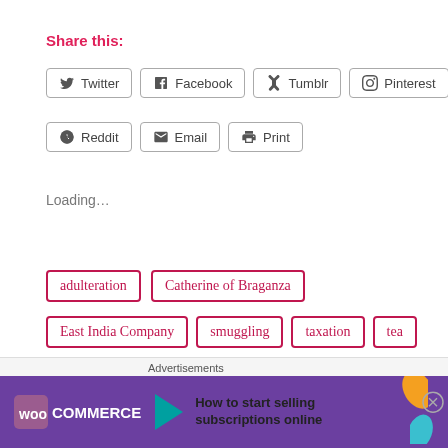Share this:
Twitter  Facebook  Tumblr  Pinterest
Reddit  Email  Print
Loading...
adulteration
Catherine of Braganza
East India Company
smuggling
taxation
tea
Temperance Movement
trade
Advertisements
[Figure (screenshot): WooCommerce advertisement banner: purple background, WooCommerce logo with arrow icon, text 'How to start selling subscriptions online', decorative orange and blue leaf shapes.]